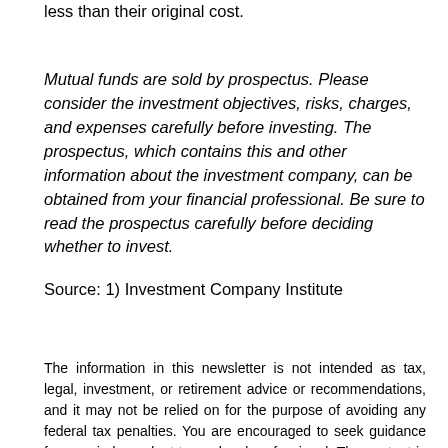less than their original cost.
Mutual funds are sold by prospectus. Please consider the investment objectives, risks, charges, and expenses carefully before investing. The prospectus, which contains this and other information about the investment company, can be obtained from your financial professional. Be sure to read the prospectus carefully before deciding whether to invest.
Source: 1) Investment Company Institute
The information in this newsletter is not intended as tax, legal, investment, or retirement advice or recommendations, and it may not be relied on for the purpose of avoiding any federal tax penalties. You are encouraged to seek guidance from an independent tax or legal professional. The content is derived from sources believed to be